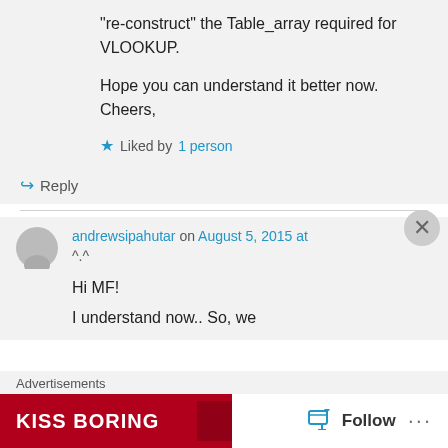"re-construct" the Table_array required for VLOOKUP.
Hope you can understand it better now.
Cheers,
★ Liked by 1 person
↳ Reply
andrewsipahutar on August 5, 2015 at ^.^
Hi MF!
I understand now.. So, we
Advertisements
[Figure (photo): Advertisement banner: KISS BORING with SHOP NOW button on dark red background]
Follow